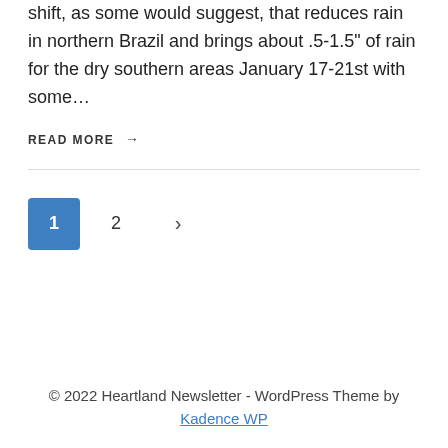shift, as some would suggest, that reduces rain in northern Brazil and brings about .5-1.5" of rain for the dry southern areas January 17-21st with some…
READ MORE →
1 2 >
© 2022 Heartland Newsletter - WordPress Theme by Kadence WP